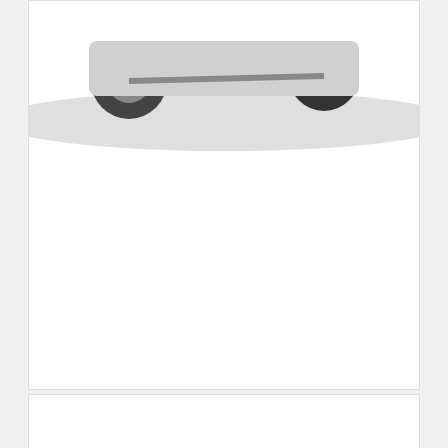[Figure (photo): Partial view of a car (wheels and underside visible) with a shadow, cropped at the top of the page]
2012 LEXUS LS460 L CAR COVER
$357.00 - $927.00
[Figure (illustration): Blue button with white upward arrow (back to top button)]
[Figure (photo): White empty product card area at the bottom of the page]